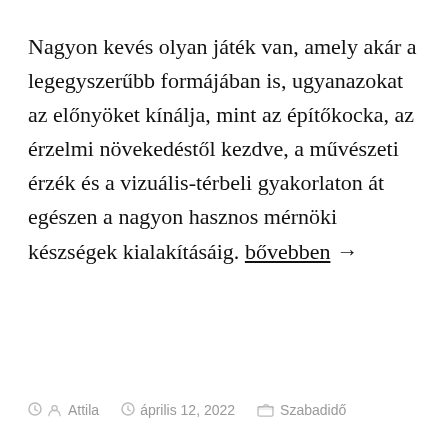Nagyon kevés olyan játék van, amely akár a legegyszerűbb formájában is, ugyanazokat az előnyöket kínálja, mint az építőkocka, az érzelmi növekedéstől kezdve, a művészeti érzék és a vizuális-térbeli gyakorlaton át egészen a nagyon hasznos mérnöki készségek kialakításáig. bővebben →
Attila   április 12, 2022   Szabadidő